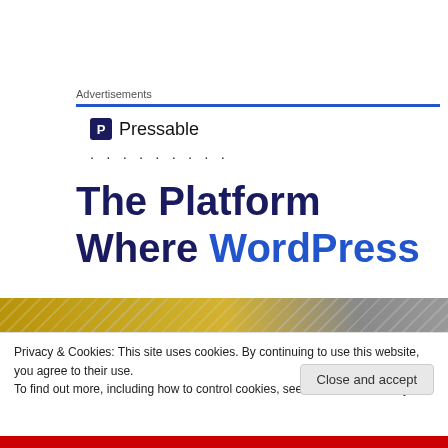Advertisements
[Figure (logo): Pressable logo with icon and name, followed by dotted line]
The Platform Where WordPress
[Figure (photo): Gold and grey textured photo strip]
Privacy & Cookies: This site uses cookies. By continuing to use this website, you agree to their use.
To find out more, including how to control cookies, see here: Cookie Policy
Close and accept